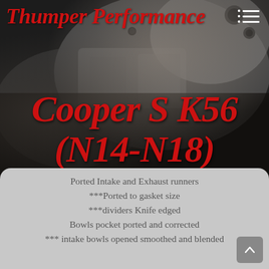[Figure (photo): Engine cylinder head / intake manifold components photographed close-up, dark metallic tones with machined aluminum parts visible]
Thumper Performance
Cooper S K56 (N14-N18)
Ported Intake and Exhaust runners
***Ported to gasket size
***dividers Knife edged
Bowls pocket ported and corrected
*** intake bowls opened smoothed and blended